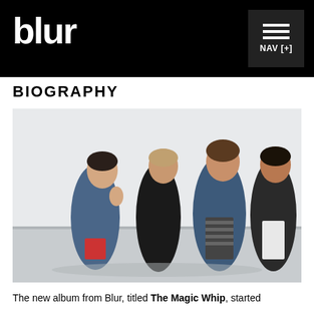blur NAV [+]
BIOGRAPHY
[Figure (photo): Four members of the band Blur standing outdoors on what appears to be a beach or coastal road. From left to right: a man with glasses in a denim jacket and red shirt, a man in a dark sweater, a man in a striped shirt under a denim jacket, and a man in a white shirt with a dark jacket.]
The new album from Blur, titled The Magic Whip, started